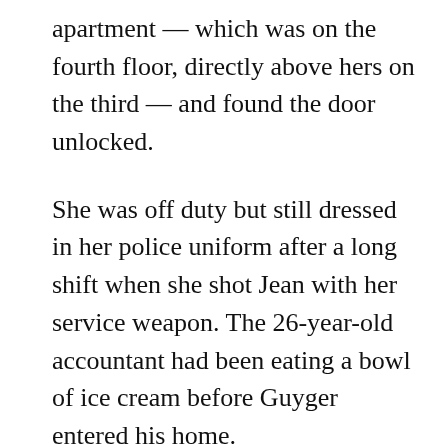apartment — which was on the fourth floor, directly above hers on the third — and found the door unlocked.
She was off duty but still dressed in her police uniform after a long shift when she shot Jean with her service weapon. The 26-year-old accountant had been eating a bowl of ice cream before Guyger entered his home.
Jean, who grew up in the Caribbean island nation of St. Lucia, came to the U.S. for college and starting his career as an accountant. His shooting drew widespread attention because of